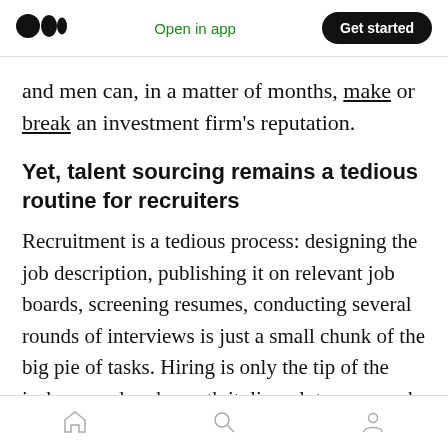Medium app header — Open in app | Get started
and men can, in a matter of months, make or break an investment firm's reputation.
Yet, talent sourcing remains a tedious routine for recruiters
Recruitment is a tedious process: designing the job description, publishing it on relevant job boards, screening resumes, conducting several rounds of interviews is just a small chunk of the big pie of tasks. Hiring is only the tip of the iceberg, and underneath it, lies a lot more work like — onboarding, training, and retaining the
Home | Search | Profile